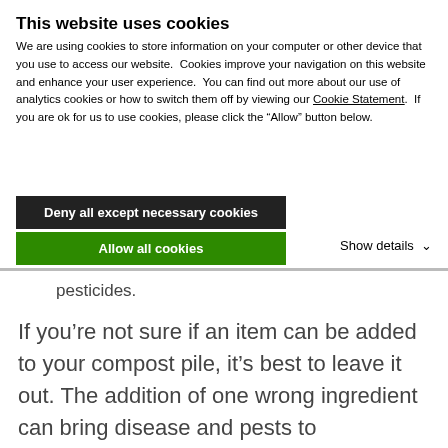This website uses cookies
We are using cookies to store information on your computer or other device that you use to access our website.  Cookies improve your navigation on this website and enhance your user experience.  You can find out more about our use of analytics cookies or how to switch them off by viewing our Cookie Statement.  If you are ok for us to use cookies, please click the “Allow” button below.
Deny all except necessary cookies
Allow all cookies
Show details
pesticides.
If you’re not sure if an item can be added to your compost pile, it’s best to leave it out. The addition of one wrong ingredient can bring disease and pests to surrounding plants, or create a foul smell, rendering the whole batch of